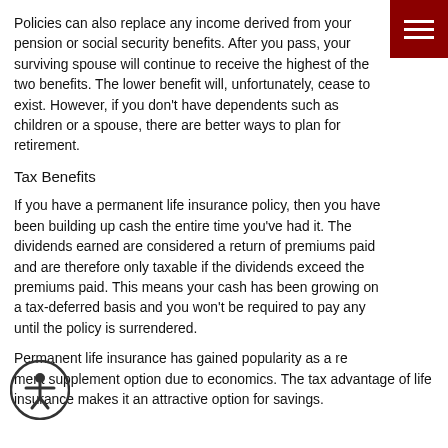Policies can also replace any income derived from your pension or social security benefits. After you pass, your surviving spouse will continue to receive the highest of the two benefits. The lower benefit will, unfortunately, cease to exist. However, if you don't have dependents such as children or a spouse, there are better ways to plan for retirement.
Tax Benefits
If you have a permanent life insurance policy, then you have been building up cash the entire time you've had it. The dividends earned are considered a return of premiums paid and are therefore only taxable if the dividends exceed the premiums paid. This means your cash has been growing on a tax-deferred basis and you won't be required to pay any until the policy is surrendered.
Permanent life insurance has gained popularity as a retirement supplement option due to economics. The tax advantage of life insurance makes it an attractive option for savings.